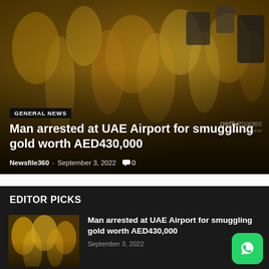[Figure (photo): Hero image of gold jewelry items displayed at a market, with overlaid headline text and category badge]
Man arrested at UAE Airport for smuggling gold worth AED430,000
Newsfile360 - September 3, 2022  0
EDITOR PICKS
[Figure (photo): Thumbnail image of gold jewelry items at a market stall]
Man arrested at UAE Airport for smuggling gold worth AED430,000
September 3, 2022